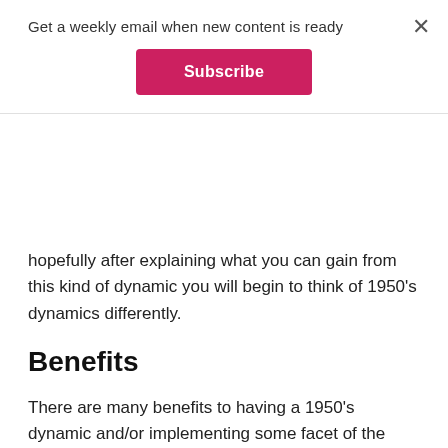Get a weekly email when new content is ready
Subscribe
hopefully after explaining what you can gain from this kind of dynamic you will begin to think of 1950's dynamics differently.
Benefits
There are many benefits to having a 1950's dynamic and/or implementing some facet of the 1950's into your life. The first that comes to mind is the structure of the 50's provides very clear- cut roles and responsibilities for both the Dom and sub.
The breadwinner/homemaker dynamic has been